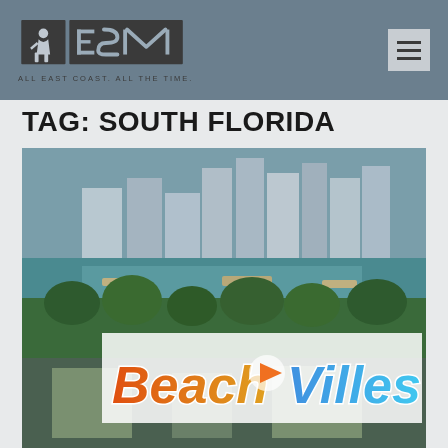ESM — ALL EAST COAST. ALL THE TIME.
TAG: SOUTH FLORIDA
[Figure (photo): Aerial/elevated view of a South Florida cityscape with tall buildings and waterfront, overlaid with a colorful 'BeachVilles' logo and a play button icon in the center]